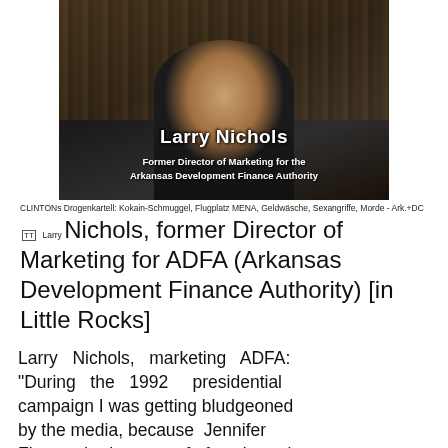[Figure (screenshot): Screenshot of a video showing a man in a dark suit with bookshelves in the background. On-screen text overlay reads 'Larry Nichols' and 'Former Director of Marketing for the Arkansas Development Finance Authority'.]
CLINTONs Drogenkartell: Kokain-Schmuggel, Flugplatz MENA, Geldwäsche, Sexangriffe, Morde - Ark.+DC  (TT)  Larry Nichols, former Director of Marketing for ADFA (Arkansas Development Finance Authority) [in Little Rocks]
Larry Nichols, marketing ADFA: "During the 1992 presidential campaign I was getting bludgeoned by the media, because Jennifer Flowers had come ouf of my lawsuit (53'59"). A man called me on the phone on the Monday, his name was Gary Johnson. He was an attorney. He told me that he felt bad because I was being bludgeoned, and he wanted to talk to me about him in my